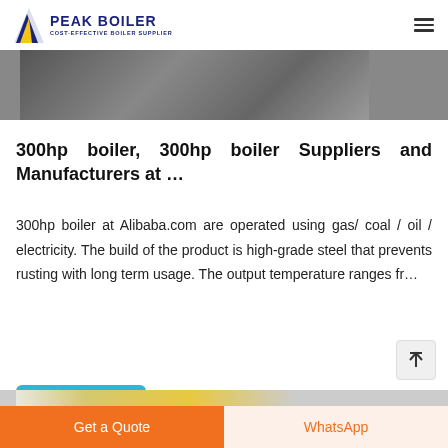PEAK BOILER — COST-EFFECTIVE BOILER SUPPLIER
[Figure (photo): Partial view of a boiler or industrial equipment, top image strip]
300hp boiler, 300hp boiler Suppliers and Manufacturers at …
300hp boiler at Alibaba.com are operated using gas/ coal / oil / electricity. The build of the product is high-grade steel that prevents rusting with long term usage. The output temperature ranges fr…
[Figure (other): Back to top arrow button]
[Figure (other): Get price button (teal/cyan rounded rectangle)]
[Figure (photo): Bottom partial image of industrial boiler piping in yellow/orange tones]
Get a Quote | WhatsApp